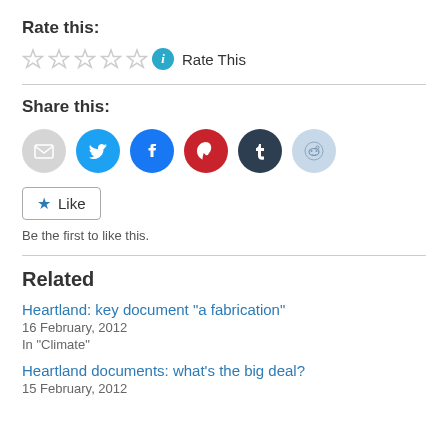Rate this:
☆ ☆ ☆ ☆ ☆ ⓘ Rate This
Share this:
[Figure (infographic): Row of social sharing icons: email (grey), Twitter (blue), Facebook (blue), Pinterest (red), Tumblr (dark), Reddit (light blue)]
★ Like
Be the first to like this.
Related
Heartland: key document "a fabrication"
16 February, 2012
In "Climate"
Heartland documents: what's the big deal?
15 February, 2012